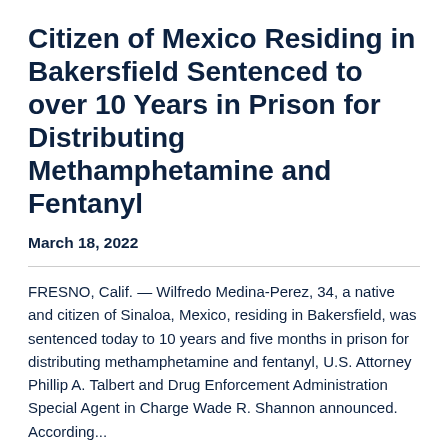Citizen of Mexico Residing in Bakersfield Sentenced to over 10 Years in Prison for Distributing Methamphetamine and Fentanyl
March 18, 2022
FRESNO, Calif. — Wilfredo Medina-Perez, 34, a native and citizen of Sinaloa, Mexico, residing in Bakersfield, was sentenced today to 10 years and five months in prison for distributing methamphetamine and fentanyl, U.S. Attorney Phillip A. Talbert and Drug Enforcement Administration Special Agent in Charge Wade R. Shannon announced. According...